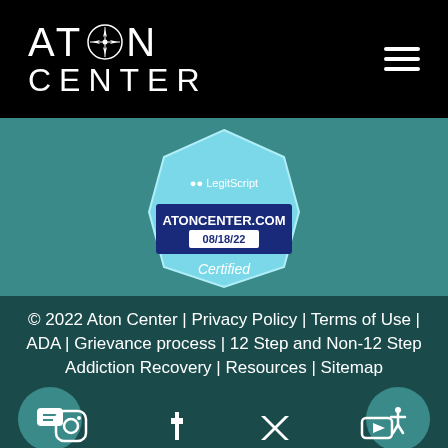[Figure (logo): Aton Center logo with compass icon, white text on black background]
[Figure (other): LegitScript Certified badge for ATONCENTER.COM, certified 08/18/22]
© 2022 Aton Center | Privacy Policy | Terms of Use | ADA | Grievance process | 12 Step and Non-12 Step Addiction Recovery | Resources | Sitemap